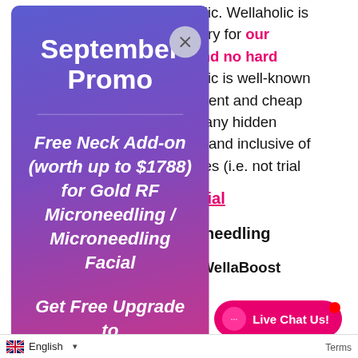aholic. Wellaholic is
dustry for our
g and no hard
aholic is well-known
sparent and cheap
out any hidden
nett and inclusive of
prices (i.e. not trial
Facial
croneedling
WellaBoost
ight
[Figure (screenshot): September Promo modal popup with gradient purple-to-pink background. Title: September Promo. Content: Free Neck Add-on (worth up to $1788) for Gold RF Microneedling / Microneedling Facial. Get Free Upgrade to 4-serum for WellaBoost. Promo ends on 30 Sep 2022. LEARN MORE button. Close button (X) at top right.]
Live Chat Us!
English